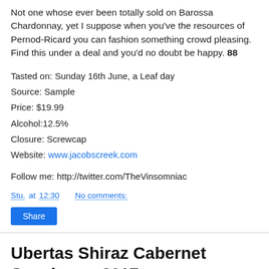Not one whose ever been totally sold on Barossa Chardonnay, yet I suppose when you've the resources of Pernod-Ricard you can fashion something crowd pleasing. Find this under a deal and you'd no doubt be happy. 88
Tasted on: Sunday 16th June, a Leaf day
Source: Sample
Price: $19.99
Alcohol:12.5%
Closure: Screwcap
Website: www.jacobscreek.com
Follow me: http://twitter.com/TheVinsomniac
Stu. at 12:30   No comments:
Ubertas Shiraz Cabernet Sauvignon 2017